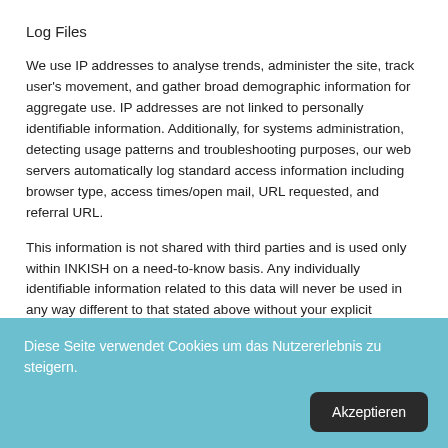Log Files
We use IP addresses to analyse trends, administer the site, track user’s movement, and gather broad demographic information for aggregate use. IP addresses are not linked to personally identifiable information. Additionally, for systems administration, detecting usage patterns and troubleshooting purposes, our web servers automatically log standard access information including browser type, access times/open mail, URL requested, and referral URL.
This information is not shared with third parties and is used only within INKISH on a need-to-know basis. Any individually identifiable information related to this data will never be used in any way different to that stated above without your explicit permission.
Diese Seite verwendet Cookies um das Nutzererlebnis zu steigern.